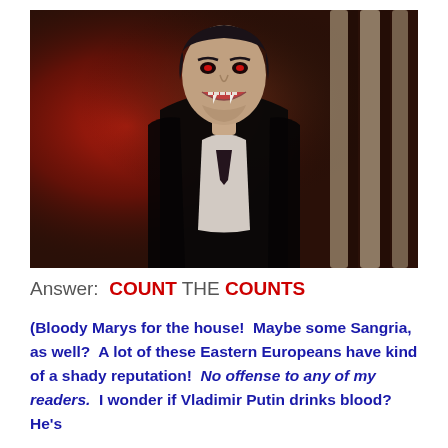[Figure (photo): A man dressed as Count Dracula (vampire) in formal dark attire, showing fangs with mouth open, set against a reddish ornate background with pillars. Classic horror movie still.]
Answer:  COUNT THE COUNTS
(Bloody Marys for the house!  Maybe some Sangria, as well?  A lot of these Eastern Europeans have kind of a shady reputation!  No offense to any of my readers.  I wonder if Vladimir Putin drinks blood?  He's